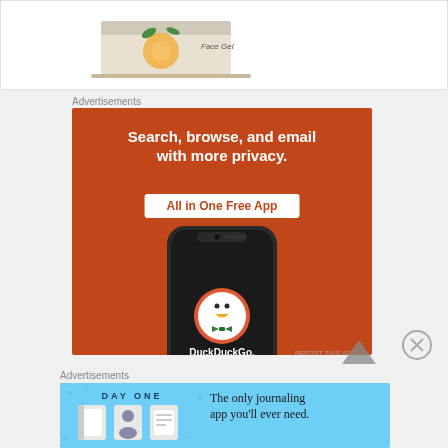[Figure (photo): Partial view of a face gel product with orange/citrus imagery, cropped at top]
Advertisements
[Figure (screenshot): DuckDuckGo advertisement on orange background: 'Search, browse, and email with more privacy. All in One Free App' with phone showing DuckDuckGo logo]
Advertisements
[Figure (screenshot): Day One journaling app advertisement on light blue background: 'DAY ONE - The only journaling app you'll ever need.' with app icons]